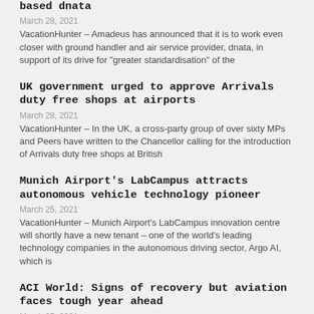based dnata
March 28, 2021
VacationHunter – Amadeus has announced that it is to work even closer with ground handler and air service provider, dnata, in support of its drive for "greater standardisation" of the
UK government urged to approve Arrivals duty free shops at airports
March 28, 2021
VacationHunter – In the UK, a cross-party group of over sixty MPs and Peers have written to the Chancellor calling for the introduction of Arrivals duty free shops at British
Munich Airport's LabCampus attracts autonomous vehicle technology pioneer
March 25, 2021
VacationHunter – Munich Airport's LabCampus innovation centre will shortly have a new tenant – one of the world's leading technology companies in the autonomous driving sector, Argo AI, which is
ACI World: Signs of recovery but aviation faces tough year ahead
March 25, 2021
VacationHunter – New analysis from ACI World shows that despite some positive signs for recovery emerging, the impact of the COVID-19 crisis on airport revenues